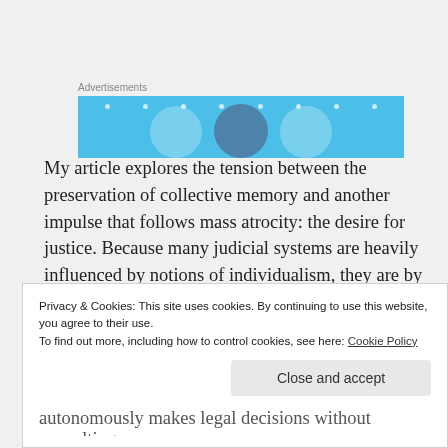[Figure (illustration): Advertisement banner with light blue background showing three circular icons resembling user/profile figures, with decorative dots scattered across the top area.]
My article explores the tension between the preservation of collective memory and another impulse that follows mass atrocity: the desire for justice. Because many judicial systems are heavily influenced by notions of individualism, they are by design ill equipped
Privacy & Cookies: This site uses cookies. By continuing to use this website, you agree to their use.
To find out more, including how to control cookies, see here: Cookie Policy
Close and accept
autonomously makes legal decisions without consulting